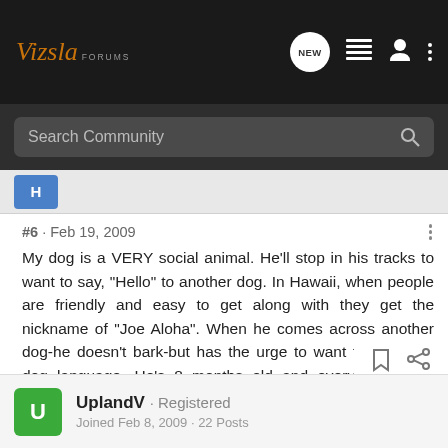Vizsla FORUMS
Search Community
#6 · Feb 19, 2009
My dog is a VERY social animal. He'll stop in his tracks to want to say, "Hello" to another dog. In Hawaii, when people are friendly and easy to get along with they get the nickname of "Joe Aloha". When he comes across another dog-he doesn't bark-but has the urge to want to say hi in dog language. He's 8 months old and everyone in our neighborhood knows our dog. This is really a fun breed to have. 😄
UplandV · Registered
Joined Feb 8, 2009 · 22 Posts